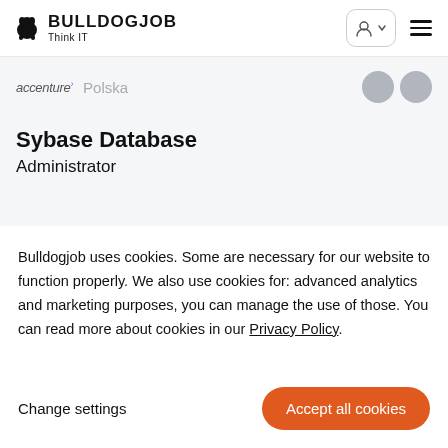BULLDOGJOB Think IT
[Figure (screenshot): Accenture job listing partial view showing Polska location and Sybase Database Administrator job title]
Bulldogjob uses cookies. Some are necessary for our website to function properly. We also use cookies for: advanced analytics and marketing purposes, you can manage the use of those. You can read more about cookies in our Privacy Policy.
Change settings
Accept all cookies